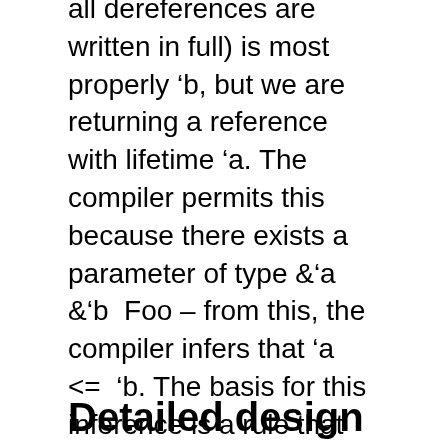all dereferences are written in full) is most properly 'b, but we are returning a reference with lifetime 'a. The compiler permits this because there exists a parameter of type &'a  &'b  Foo – from this, the compiler infers that 'a  <=  'b. The basis for this inference is a rule that you cannot have a reference that outlives its referent. This is very helpful for making some programs typecheck: this is particularly true with generic traits, as described in this blog post.
Detailed design